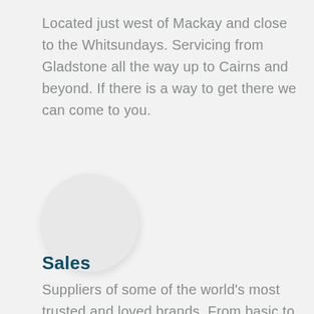Located just west of Mackay and close to the Whitsundays. Servicing from Gladstone all the way up to Cairns and beyond. If there is a way to get there we can come to you.
[Figure (illustration): A plain light grey circle, likely a placeholder for a profile image or icon.]
Sales
Suppliers of some of the world's most trusted and loved brands. From basic to fully automatic operation we have the unit...